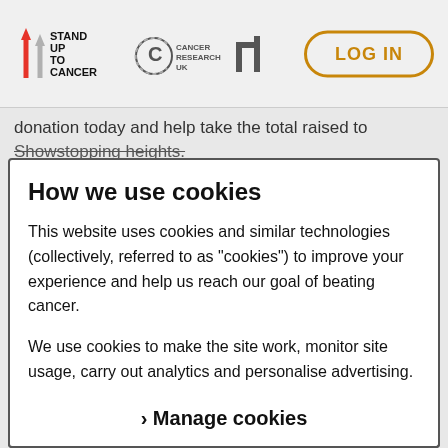[Figure (logo): Stand Up To Cancer logo with Cancer Research UK and Channel 4 logos, and a LOG IN button on the right]
donation today and help take the total raised to Showstopping heights.
How we use cookies
This website uses cookies and similar technologies (collectively, referred to as "cookies") to improve your experience and help us reach our goal of beating cancer.
We use cookies to make the site work, monitor site usage, carry out analytics and personalise advertising. Read more about the different cookies we use in our cookies policy. You can continue to the site and accept all cookies. Or you can manage how we use them.
› Manage cookies